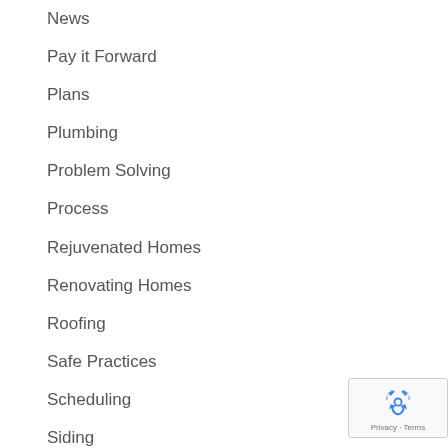News
Pay it Forward
Plans
Plumbing
Problem Solving
Process
Rejuvenated Homes
Renovating Homes
Roofing
Safe Practices
Scheduling
Siding
Site Work
Sound Proofing
Structurally sound
[Figure (logo): Google reCAPTCHA badge with recycling-arrow icon and Privacy and Terms text]